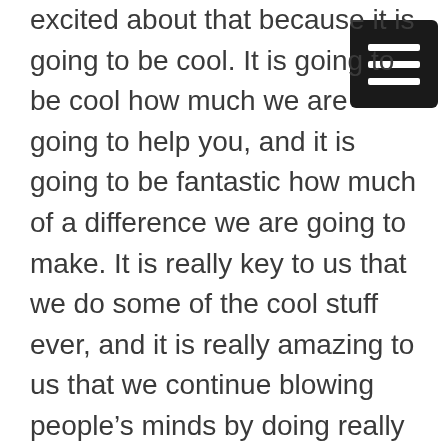excited about that because it is going to be cool. It is going to be cool how much we are going to help you, and it is going to be fantastic how much of a difference we are going to make. It is really key to us that we do some of the cool stuff ever, and it is really amazing to us that we continue blowing people’s minds by doing really great work.
It is really important to us that we continue to do that because we are absolutely amazing. Absolutely awesome and hard work that we are going to is going to result in you getting exactly what you want, and if you want a beautiful roof for your commercial building,